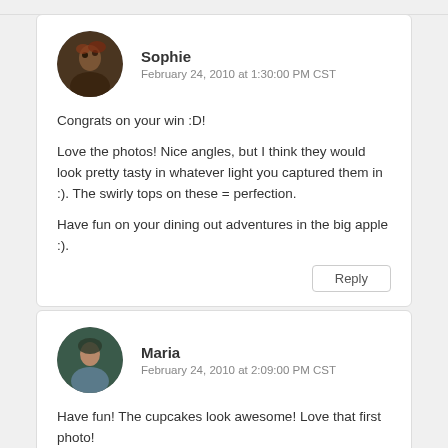Sophie
February 24, 2010 at 1:30:00 PM CST
Congrats on your win :D!

Love the photos! Nice angles, but I think they would look pretty tasty in whatever light you captured them in :). The swirly tops on these = perfection.

Have fun on your dining out adventures in the big apple :).
Reply
Maria
February 24, 2010 at 2:09:00 PM CST
Have fun! The cupcakes look awesome! Love that first photo!